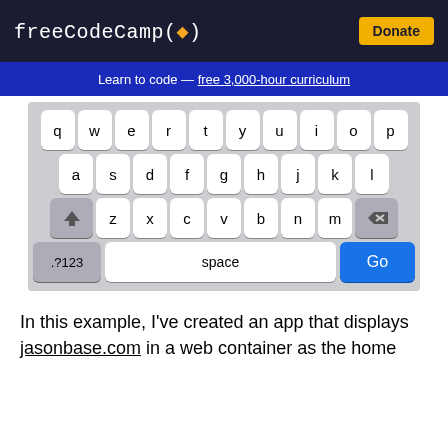freeCodeCamp(🔥)  Donate
Learn to code — free 3,000-hour curriculum
[Figure (screenshot): Screenshot of a mobile phone keyboard (QWERTY layout) with rows: q w e r t y u i o p, a s d f g h j k l, shift z x c v b n m backspace, .?123 space Go]
In this example, I've created an app that displays jasonbase.com in a web container as the home